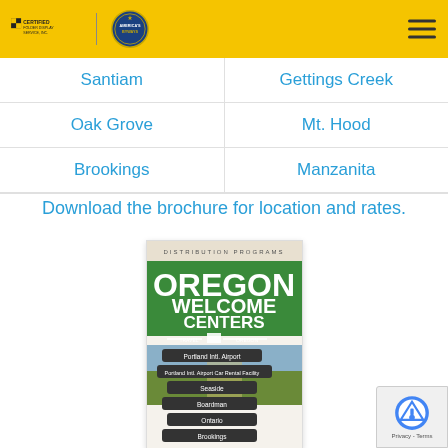Certified Folder Display Service, Inc. / America's Byways
Santiam
Gettings Creek
Oak Grove
Mt. Hood
Brookings
Manzanita
Download the brochure for location and rates.
[Figure (other): Oregon Welcome Centers distribution programs brochure cover showing directional signs for Portland Intl. Airport, Portland Intl. Airport Car Rental Facility, Seaside, Boardman, Ontario, Brookings]